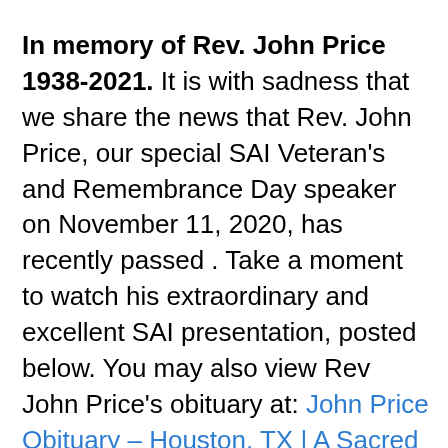In memory of Rev. John Price 1938-2021. It is with sadness that we share the news that Rev. John Price, our special SAI Veteran's and Remembrance Day speaker on November 11, 2020, has recently passed . Take a moment to watch his extraordinary and excellent SAI presentation, posted below. You may also view Rev John Price's obituary at: John Price Obituary – Houston, TX | A Sacred Choice